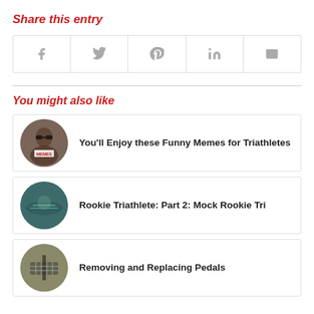Share this entry
[Figure (infographic): Social share buttons row: Facebook, Twitter, Pinterest, LinkedIn, Email icons in bordered cells]
You might also like
You'll Enjoy these Funny Memes for Triathletes
Rookie Triathlete: Part 2: Mock Rookie Tri
Removing and Replacing Pedals